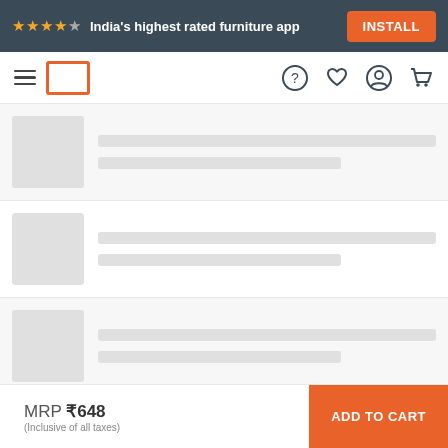★★★★★ India's highest rated furniture app  INSTALL
[Figure (screenshot): Navigation bar with hamburger menu, Pepperfry logo box, help, wishlist, account and cart icons]
[Figure (screenshot): Three skeleton loading product rows with grey thumbnail placeholder and grey line placeholders]
Bangalore - 560001   Change
Delivery between Aug 29 - Aug 31
MRP ₹648 (Inclusive of all taxes)   ADD TO CART